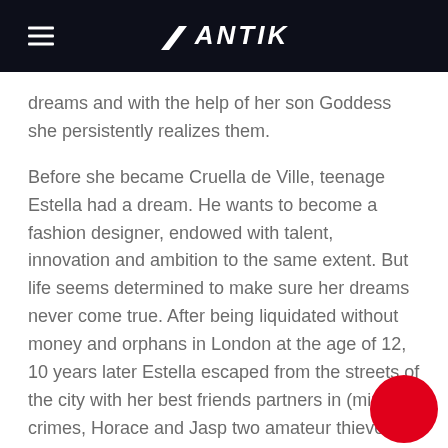ANTIK
dreams and with the help of her son Goddess she persistently realizes them.
Before she became Cruella de Ville, teenage Estella had a dream. He wants to become a fashion designer, endowed with talent, innovation and ambition to the same extent. But life seems determined to make sure her dreams never come true. After being liquidated without money and orphans in London at the age of 12, 10 years later Estella escaped from the streets of the city with her best friends partners in (minor) crimes, Horace and Jasp two amateur thieves. When Estella's vaults